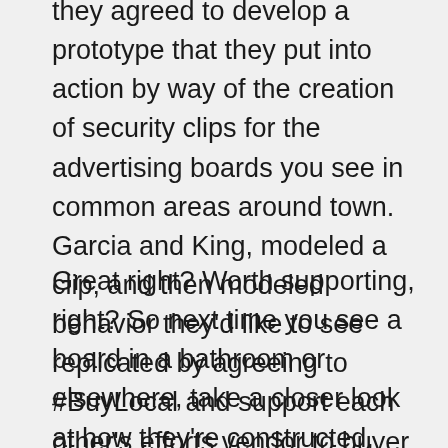they agreed to develop a prototype that they put into action by way of the creation of security clips for the advertising boards you see in common areas around town. Garcia and King, modeled a clip, and then modeled behavior they'd like to see replicated by agreeing to #BuyLocal and support each other's efforts vendor to buyer and vice versa.
Great right? Worth supporting, right? So next time you see a board in a bathroom or elsewhere, take a closer look at how they're constructed, and see the value and example of businesses working together in Burque. Choose to work with either of them the next time you have an opportunity to do so as well. Below you'll find a list and descriptions of services that FUSE can provide to you – and here is a link to